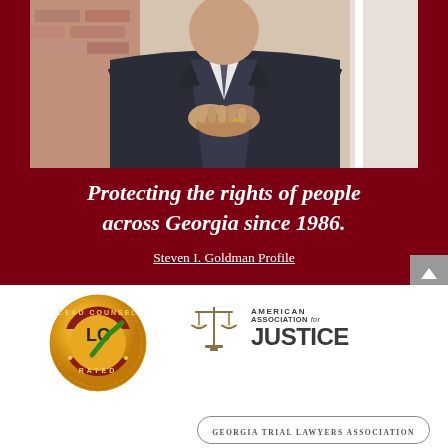[Figure (photo): Photo of a person in a dark suit with hands clasped, outdoors near a brick building. The lower portion shows a dark red/maroon background overlay.]
Protecting the rights of people across Georgia since 1986.
Steven I. Goldman Profile
[Figure (logo): Lead Counsel Rated badge — gold circular seal with 'LC' initials and green checkmark, text reads 'LEAD COUNSEL' at top and 'RATED' at bottom.]
[Figure (logo): American Association for Justice logo — scales of justice icon with text 'AMERICAN ASSOCIATION for JUSTICE'.]
[Figure (logo): Georgia Trial Lawyers Association badge — oval/rounded rectangle border with text 'GEORGIA TRIAL LAWYERS ASSOCIATION'.]